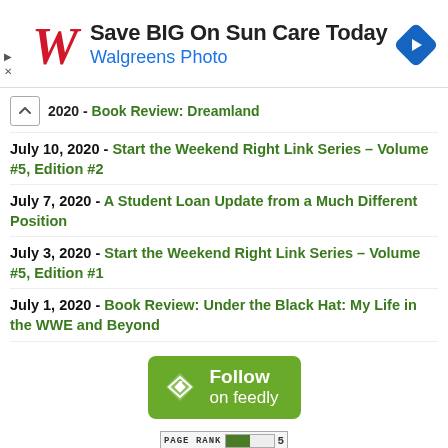[Figure (screenshot): Walgreens ad banner: red Walgreens logo W, text 'Save BIG On Sun Care Today' in bold dark, 'Walgreens Photo' in blue, blue diamond arrow icon on right, play/close icons on left]
2020 - Book Review: Dreamland
July 10, 2020 - Start the Weekend Right Link Series – Volume #5, Edition #2
July 7, 2020 - A Student Loan Update from a Much Different Position
July 3, 2020 - Start the Weekend Right Link Series – Volume #5, Edition #1
July 1, 2020 - Book Review: Under the Black Hat: My Life in the WWE and Beyond
[Figure (logo): Follow on Feedly green button with Feedly diamond icon]
[Figure (other): Page Rank badge showing rank 5]
© Usable Web Solutions, LLC | Privacy Policy